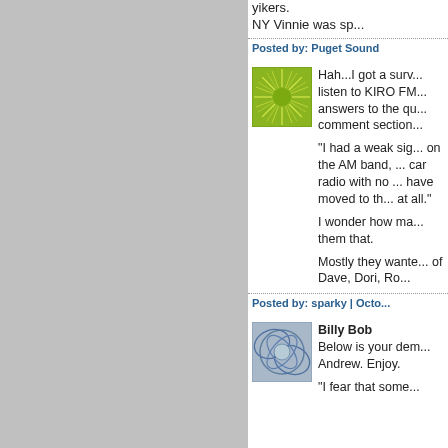yikers.
NY Vinnie was sp...
Posted by: Puget Sound
[Figure (illustration): Green sunburst avatar icon with circular center]
Hah...I got a surv... listen to KIRO FM... answers to the qu... comment section... "I had a weak sig... on the AM band, ... car radio with no ... have moved to th... at all."

I wonder how ma... them that.

Mostly they wante... of Dave, Dori, Ro...
Posted by: sparky | Octo...
[Figure (illustration): Abstract geometric avatar with intersecting curves on blue-gray background]
Billy Bob
Below is your dem...
Andrew. Enjoy.

"I fear that some...